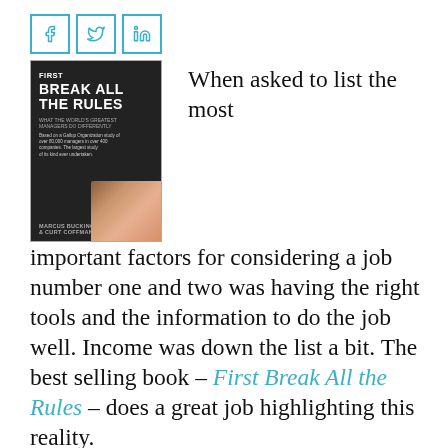[Figure (illustration): Book cover of 'First Break All the Rules' by Marcus Buckingham & Curt Coffman, dark background with bold text and a photo at the bottom]
When asked to list the most important factors for considering a job number one and two was having the right tools and the information to do the job well. Income was down the list a bit. The best selling book – First Break All the Rules – does a great job highlighting this reality.

Knowing your key strategic indicators – the things that you need to measure to determine you are on the right track to meeting your business objectives – and then routinely sharing and updating this information with